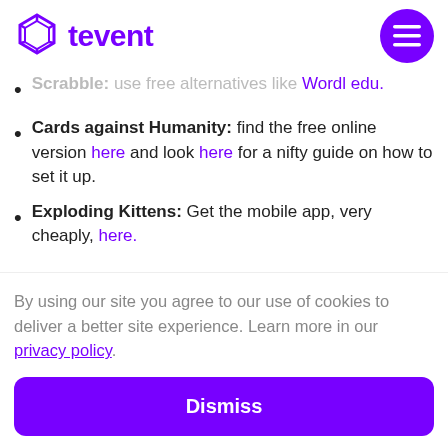tevent
Scrabble: use free alternatives like Wordl edu.
Cards against Humanity: find the free online version here and look here for a nifty guide on how to set it up.
Exploding Kittens: Get the mobile app, very cheaply, here.
By using our site you agree to our use of cookies to deliver a better site experience. Learn more in our privacy policy.
Dismiss